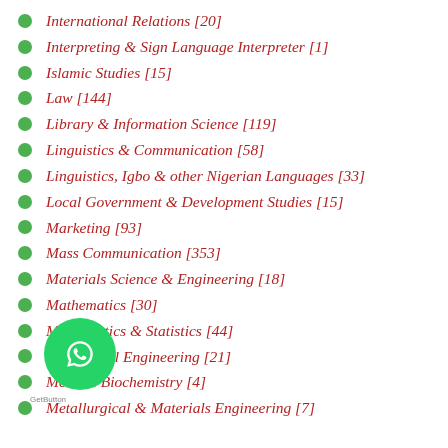International Relations [20]
Interpreting & Sign Language Interpreter [1]
Islamic Studies [15]
Law [144]
Library & Information Science [119]
Linguistics & Communication [58]
Linguistics, Igbo & other Nigerian Languages [33]
Local Government & Development Studies [15]
Marketing [93]
Mass Communication [353]
Materials Science & Engineering [18]
Mathematics [30]
Mathematics & Statistics [44]
Mechanical Engineering [21]
Medical Biochemistry [4]
Metallurgical & Materials Engineering [7]